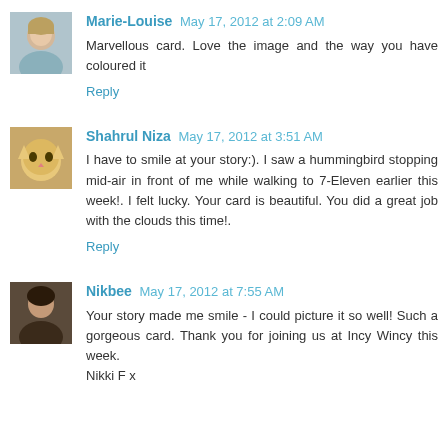[Figure (photo): Avatar photo of Marie-Louise, showing a woman]
Marie-Louise May 17, 2012 at 2:09 AM
Marvellous card. Love the image and the way you have coloured it
Reply
[Figure (photo): Avatar photo of Shahrul Niza, showing a cat]
Shahrul Niza May 17, 2012 at 3:51 AM
I have to smile at your story:). I saw a hummingbird stopping mid-air in front of me while walking to 7-Eleven earlier this week!. I felt lucky. Your card is beautiful. You did a great job with the clouds this time!.
Reply
[Figure (photo): Avatar photo of Nikbee, showing a person]
Nikbee May 17, 2012 at 7:55 AM
Your story made me smile - I could picture it so well! Such a gorgeous card. Thank you for joining us at Incy Wincy this week.
Nikki F x